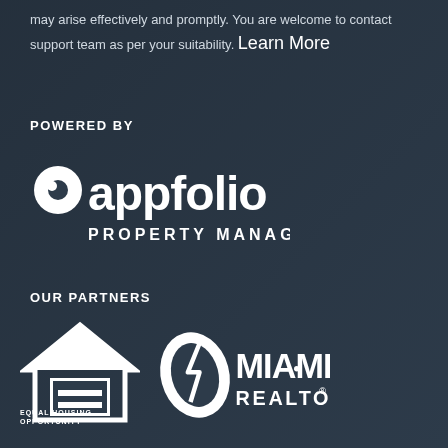may arise effectively and promptly. You are welcome to contact support team as per your suitability. Learn More
POWERED BY
[Figure (logo): AppFolio Property Manager logo in white]
OUR PARTNERS
[Figure (logo): Equal Housing Opportunity logo and Miami Realtors logo in white]